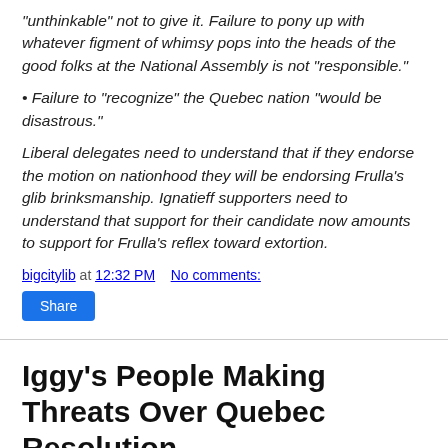"unthinkable" not to give it. Failure to pony up with whatever figment of whimsy pops into the heads of the good folks at the National Assembly is not "responsible."
• Failure to "recognize" the Quebec nation "would be disastrous."
Liberal delegates need to understand that if they endorse the motion on nationhood they will be endorsing Frulla's glib brinksmanship. Ignatieff supporters need to understand that support for their candidate now amounts to support for Frulla's reflex toward extortion.
bigcitylib at 12:32 PM   No comments:
Share
Iggy's People Making Threats Over Quebec Resolution
From today's Globe: